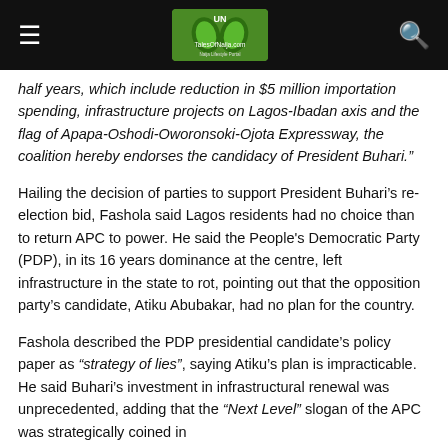TalesOfNaija.com navigation bar
half years, which include reduction in $5 million importation spending, infrastructure projects on Lagos-Ibadan axis and the flag of Apapa-Oshodi-Oworonsoki-Ojota Expressway, the coalition hereby endorses the candidacy of President Buhari."
Hailing the decision of parties to support President Buhari's re-election bid, Fashola said Lagos residents had no choice than to return APC to power. He said the People's Democratic Party (PDP), in its 16 years dominance at the centre, left infrastructure in the state to rot, pointing out that the opposition party's candidate, Atiku Abubakar, had no plan for the country.
Fashola described the PDP presidential candidate's policy paper as “strategy of lies”, saying Atiku’s plan is impracticable. He said Buhari’s investment in infrastructural renewal was unprecedented, adding that the “Next Level” slogan of the APC was strategically coined in